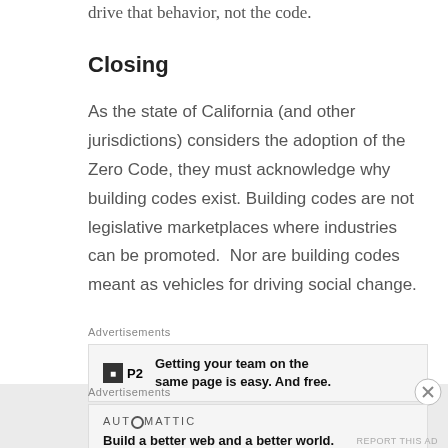drive that behavior, not the code.
Closing
As the state of California (and other jurisdictions) considers the adoption of the Zero Code, they must acknowledge why building codes exist. Building codes are not legislative marketplaces where industries can be promoted.  Nor are building codes meant as vehicles for driving social change.
Advertisements
[Figure (other): P2 advertisement: Getting your team on the same page is easy. And free.]
Advertisements
[Figure (other): Automattic advertisement: Build a better web and a better world.]